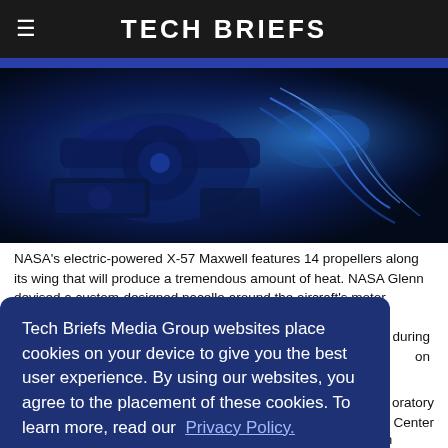Tech Briefs
[Figure (photo): NASA X-57 Maxwell aircraft motor electronics, blue-tinted photograph showing wiring and mechanical components]
NASA's electric-powered X-57 Maxwell features 14 propellers along its wing that will produce a tremendous amount of heat. NASA Glenn devised a custom-designed nacelle around the aircraft's motor electronics to cool
en during
on
Tech Briefs Media Group websites place cookies on your device to give you the best user experience. By using our websites, you agree to the placement of these cookies. To learn more, read our Privacy Policy.
Accept & Continue
oratory
h Center
in Cleveland, OH became a national resource for innovations in